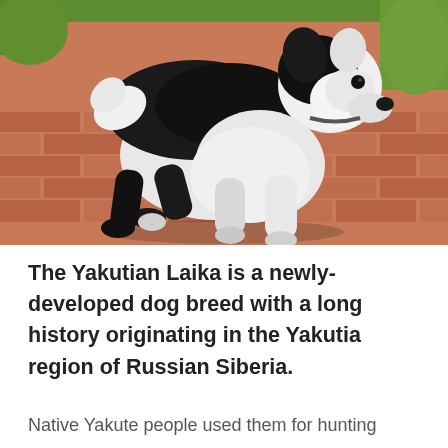[Figure (photo): A black and white Yakutian Laika puppy walking on a red brick patio with green grass in the background. The dog has a predominantly black back and white underbelly and legs, caught mid-stride with one paw raised.]
The Yakutian Laika is a newly-developed dog breed with a long history originating in the Yakutia region of Russian Siberia.
Native Yakute people used them for hunting